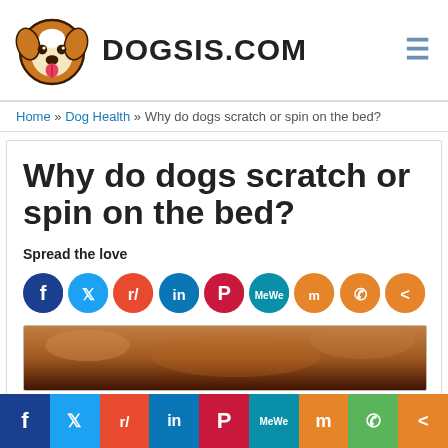DOGSIS.COM
Home » Dog Health » Why do dogs scratch or spin on the bed?
Why do dogs scratch or spin on the bed?
Spread the love
[Figure (illustration): Row of social media share icons: Facebook, Twitter, Reddit, LinkedIn, Pinterest, MeWe, Mix, WhatsApp, Share]
[Figure (photo): Close-up photo of a dog lying down, warm brown fur tones]
[Figure (illustration): Bottom social media share bar with Facebook, Twitter, Reddit, LinkedIn, Pinterest, MeWe, Mix, WhatsApp, Share buttons]